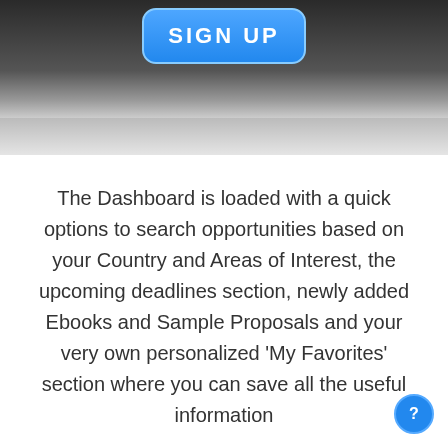[Figure (screenshot): Top banner image showing a dark background with a blue 'SIGN UP' button and fading gradient below]
The Dashboard is loaded with a quick options to search opportunities based on your Country and Areas of Interest, the upcoming deadlines section, newly added Ebooks and Sample Proposals and your very own personalized 'My Favorites' section where you can save all the useful information